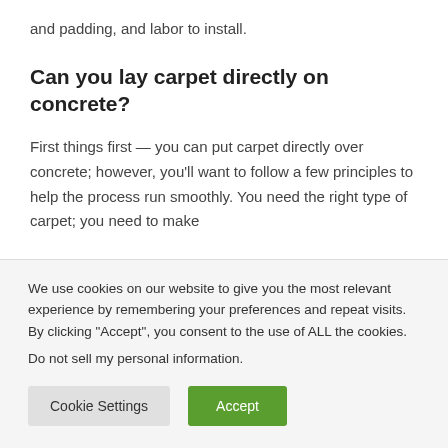and padding, and labor to install.
Can you lay carpet directly on concrete?
First things first — you can put carpet directly over concrete; however, you'll want to follow a few principles to help the process run smoothly. You need the right type of carpet; you need to make
We use cookies on our website to give you the most relevant experience by remembering your preferences and repeat visits. By clicking “Accept”, you consent to the use of ALL the cookies.
Do not sell my personal information.